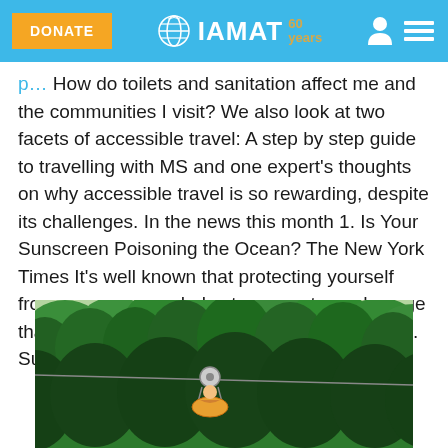IAMAT 60 years — DONATE
How do toilets and sanitation affect me and the communities I visit? We also look at two facets of accessible travel: A step by step guide to travelling with MS and one expert's thoughts on why accessible travel is so rewarding, despite its challenges. In the news this month 1. Is Your Sunscreen Poisoning the Ocean? The New York Times It's well known that protecting yourself from sun exposure helps to prevent sun damage that can lead to skin cancer and other illnesses. Sunscreen is one of the main ...
[Figure (photo): Photograph of a tropical forest canopy with zip-line or cable equipment visible in the foreground, lush green trees in the background]